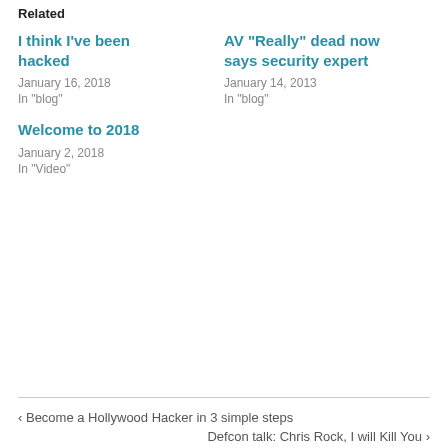Related
I think I’ve been hacked
January 16, 2018
In "blog"
AV “Really” dead now says security expert
January 14, 2013
In "blog"
Welcome to 2018
January 2, 2018
In "Video"
‹ Become a Hollywood Hacker in 3 simple steps
Defcon talk: Chris Rock, I will Kill You ›